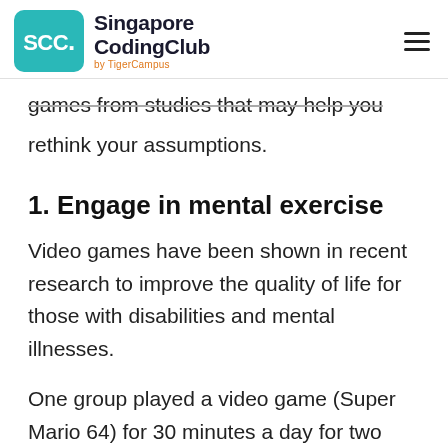Singapore CodingClub by TigerCampus
games from studies that may help you rethink your assumptions.
1. Engage in mental exercise
Video games have been shown in recent research to improve the quality of life for those with disabilities and mental illnesses.
One group played a video game (Super Mario 64) for 30 minutes a day for two months